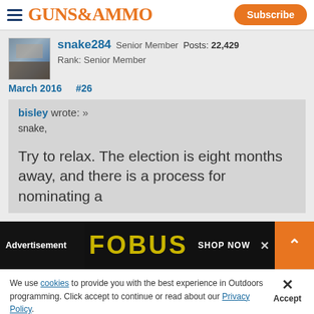GUNS&AMMO — Subscribe
snake284 Senior Member Posts: 22,429 Rank: Senior Member
March 2016  #26
bisley wrote: »
snake,

Try to relax. The election is eight months away, and there is a process for nominating a
[Figure (screenshot): Advertisement overlay showing FOBUS brand with SHOP NOW text]
We use cookies to provide you with the best experience in Outdoors programming. Click accept to continue or read about our Privacy Policy.